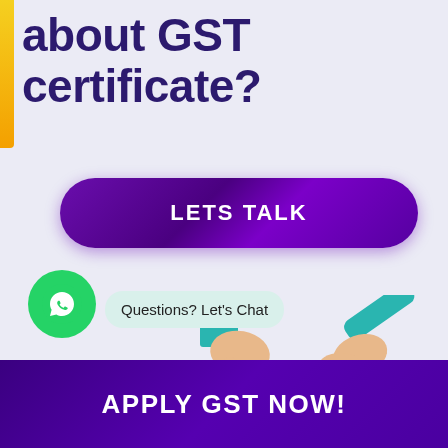about GST certificate?
LETS TALK
[Figure (illustration): Illustration of hands holding documents and objects related to GST, with a WhatsApp chat bubble saying 'Questions? Let's Chat' and a GST logo visible]
Questions? Let's Chat
APPLY GST NOW!